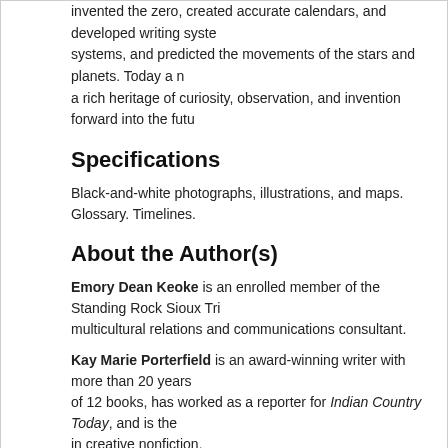invented the zero, created accurate calendars, and developed writing systems, and predicted the movements of the stars and planets. Today a rich heritage of curiosity, observation, and invention forward into the future.
Specifications
Black-and-white photographs, illustrations, and maps. Glossary. Timelines.
About the Author(s)
Emory Dean Keoke is an enrolled member of the Standing Rock Sioux Tribe and a multicultural relations and communications consultant.
Kay Marie Porterfield is an award-winning writer with more than 20 years of 12 books, has worked as a reporter for Indian Country Today, and is the in creative nonfiction.
Help
About Us
Contact Us
Job Openings
Privacy Policy
Forms
Book Processing Form
Blank Order Form
eBook Registration Form
Ac
Inf
13
16
Ne